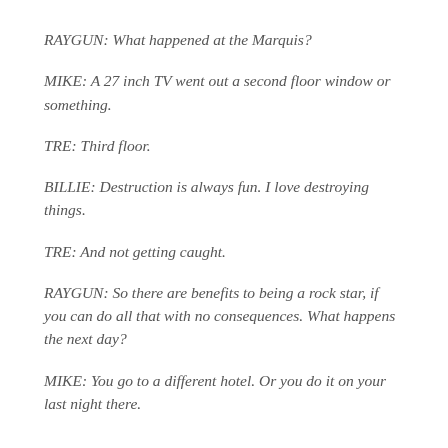RAYGUN: What happened at the Marquis?
MIKE: A 27 inch TV went out a second floor window or something.
TRE: Third floor.
BILLIE: Destruction is always fun. I love destroying things.
TRE: And not getting caught.
RAYGUN: So there are benefits to being a rock star, if you can do all that with no consequences. What happens the next day?
MIKE: You go to a different hotel. Or you do it on your last night there.